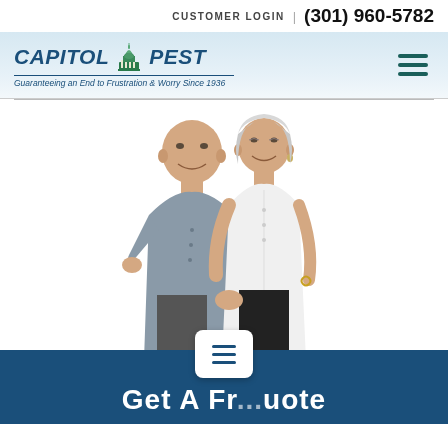CUSTOMER LOGIN | (301) 960-5782
[Figure (logo): Capitol Pest logo with capitol building icon. Text reads: CAPITOL PEST — Guaranteeing an End to Frustration & Worry Since 1936]
[Figure (photo): An elderly couple smiling and holding hands. The man wears a grey short-sleeve shirt and the woman wears a white sleeveless top and black pants.]
Get A Fr...uote